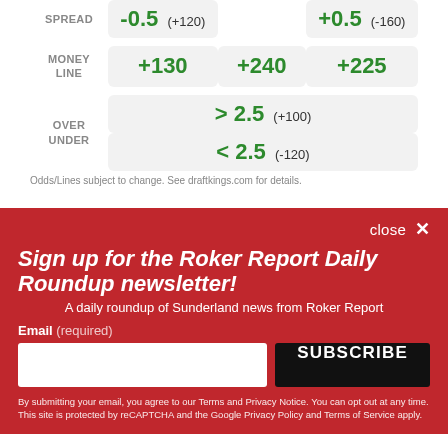|  | Col1 | Col2 | Col3 |
| --- | --- | --- | --- |
| SPREAD | -0.5 (+120) |  | +0.5 (-160) |
| MONEY LINE | +130 | +240 | +225 |
| OVER UNDER | > 2.5 (+100) |  |  |
|  | < 2.5 (-120) |  |  |
Odds/Lines subject to change. See draftkings.com for details.
close ×
Sign up for the Roker Report Daily Roundup newsletter!
A daily roundup of Sunderland news from Roker Report
Email (required)
SUBSCRIBE
By submitting your email, you agree to our Terms and Privacy Notice. You can opt out at any time. This site is protected by reCAPTCHA and the Google Privacy Policy and Terms of Service apply.